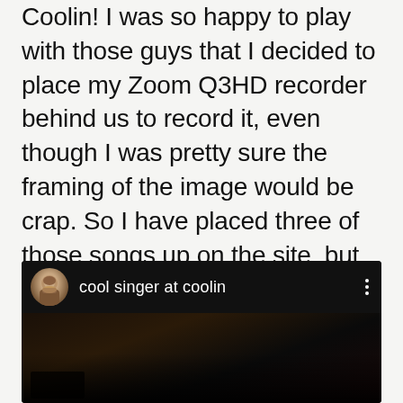Coolin! I was so happy to play with those guys that I decided to place my Zoom Q3HD recorder behind us to record it, even though I was pretty sure the framing of the image would be crap. So I have placed three of those songs up on the site, but remember, I knew the image would be crap, and the sound comes from the monitor for the musicians, not from the speakers in the pub.
[Figure (screenshot): Screenshot of a YouTube video player showing a video titled 'cool singer at coolin' with a dark video thumbnail and a circular avatar of a bearded man on the left.]